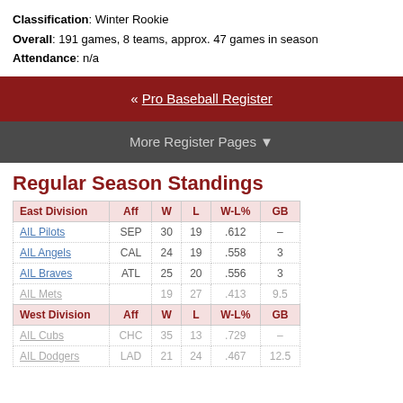Classification: Winter Rookie
Overall: 191 games, 8 teams, approx. 47 games in season
Attendance: n/a
« Pro Baseball Register
More Register Pages ▼
Regular Season Standings
| East Division | Aff | W | L | W-L% | GB |
| --- | --- | --- | --- | --- | --- |
| AIL Pilots | SEP | 30 | 19 | .612 | – |
| AIL Angels | CAL | 24 | 19 | .558 | 3 |
| AIL Braves | ATL | 25 | 20 | .556 | 3 |
| AIL Mets |  | 19 | 27 | .413 | 9.5 |
| West Division | Aff | W | L | W-L% | GB |
| AIL Cubs | CHC | 35 | 13 | .729 | – |
| AIL Dodgers | LAD | 21 | 24 | .467 | 12.5 |